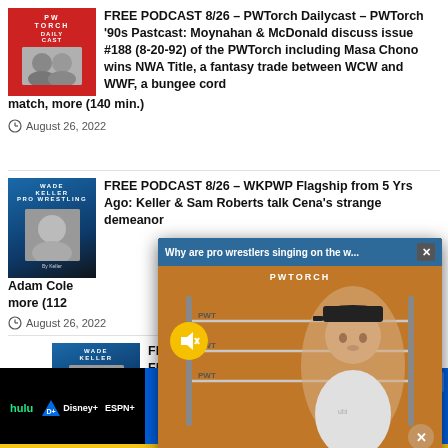[Figure (illustration): PWTorch Daily Cast podcast thumbnail - red background with two men]
FREE PODCAST 8/26 – PWTorch Dailycast – PWTorch '90s Pastcast: Moynahan & McDonald discuss issue #188 (8-20-92) of the PWTorch including Masa Chono wins NWA Title, a fantasy trade between WCW and WWF, a bungee cord match, more (140 min.)
August 26, 2022
[Figure (illustration): Wade Keller Podcast thumbnail - blue and dark background]
FREE PODCAST 8/26 – WKPWP Flagship from 5 Yrs Ago: Keller & Sam Roberts talk Cena's strange demeanor, Adam Cole, more (112
August 26, 2022
[Figure (illustration): Wade Keller Podcast thumbnail - blue and dark background]
FREE POD Flagship – what's nex UFC 278, C
[Figure (screenshot): Video overlay popup: Why are pro wrestlers singing on the w... PWTORCH label, mute button, man in black cap sitting in front of wrestling ring background]
[Figure (illustration): Disney Bundle advertisement banner: hulu Disney+ ESPN+ GET THE DISNEY BUNDLE - Incl. Hulu (ad-supported) or Hulu (No Ads). Access content from each service separately. ©2021 Disney and its related entities]